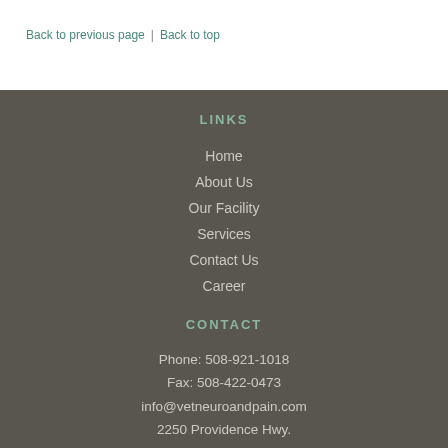Back to previous page  |  Back to top
LINKS
Home
About Us
Our Facility
Services
Contact Us
Career
CONTACT
Phone: 508-921-1018
Fax: 508-422-0473
info@vetneuroandpain.com
2250 Providence Hwy.